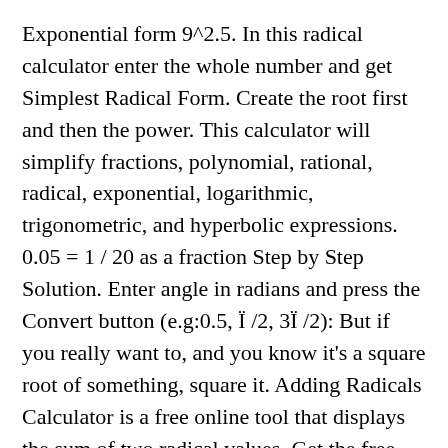Exponential form 9^2.5. In this radical calculator enter the whole number and get Simplest Radical Form. Create the root first and then the power. This calculator will simplify fractions, polynomial, rational, radical, exponential, logarithmic, trigonometric, and hyperbolic expressions. 0.05 = 1 / 20 as a fraction Step by Step Solution. Enter angle in radians and press the Convert button (e.g:0.5, Ï /2, 3Ï /2): But if you really want to, and you know it's a square root of something, square it. Adding Radicals Calculator is a free online tool that displays the sum of two radical values. Get the free "Convert Complex Numbers to Polar Form" widget for your website, blog, Wordpress, Blogger, or Google. Please enter